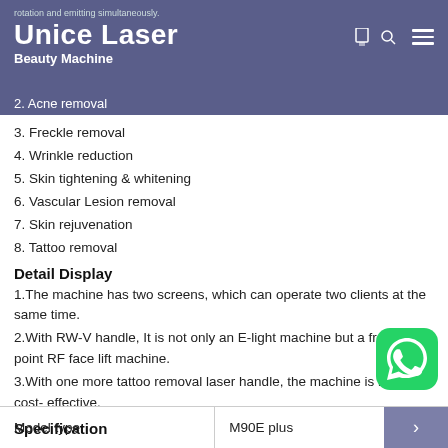Unice Laser
Beauty Machine
2. Acne removal
3. Freckle removal
4. Wrinkle reduction
5. Skin tightening &  whitening
6. Vascular Lesion removal
7. Skin rejuvenation
8. Tattoo removal
Detail Display
1.The machine has two screens, which can operate two clients at the same time.
2.With RW-V handle, It is not only an E-light machine but a freezing point RF face lift machine.
3.With one more tattoo removal laser handle, the machine is high cost- effective.
Specification
| Model type | M90E plus |  |
| --- | --- | --- |